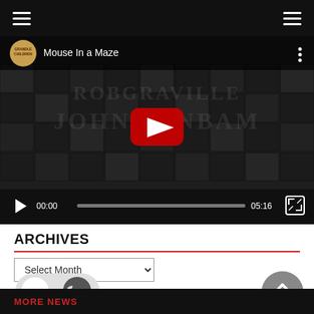Navigation bar with hamburger menus
[Figure (screenshot): YouTube video player showing 'Mouse In a Maze' video with maze background, play button in center, controls showing 00:00 / 05:16]
ARCHIVES
Select Month dropdown
MORE NEWS